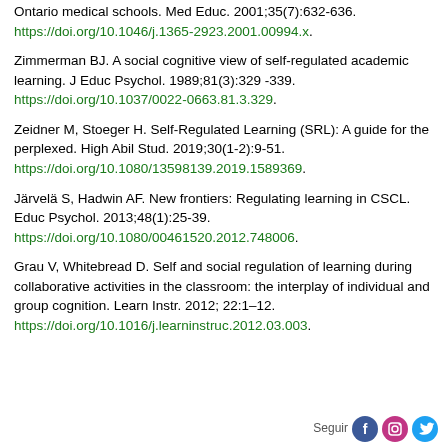Ontario medical schools. Med Educ. 2001;35(7):632-636. https://doi.org/10.1046/j.1365-2923.2001.00994.x.
Zimmerman BJ. A social cognitive view of self-regulated academic learning. J Educ Psychol. 1989;81(3):329 -339. https://doi.org/10.1037/0022-0663.81.3.329.
Zeidner M, Stoeger H. Self-Regulated Learning (SRL): A guide for the perplexed. High Abil Stud. 2019;30(1-2):9-51. https://doi.org/10.1080/13598139.2019.1589369.
Järvelä S, Hadwin AF. New frontiers: Regulating learning in CSCL. Educ Psychol. 2013;48(1):25-39. https://doi.org/10.1080/00461520.2012.748006.
Grau V, Whitebread D. Self and social regulation of learning during collaborative activities in the classroom: the interplay of individual and group cognition. Learn Instr. 2012; 22:1–12. https://doi.org/10.1016/j.learninstruc.2012.03.003.